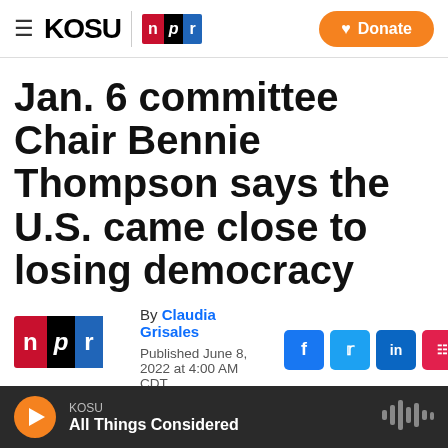KOSU | NPR  Donate
Jan. 6 committee Chair Bennie Thompson says the U.S. came close to losing democracy
By Claudia Grisales
Published June 8, 2022 at 4:00 AM CDT
KOSU  All Things Considered